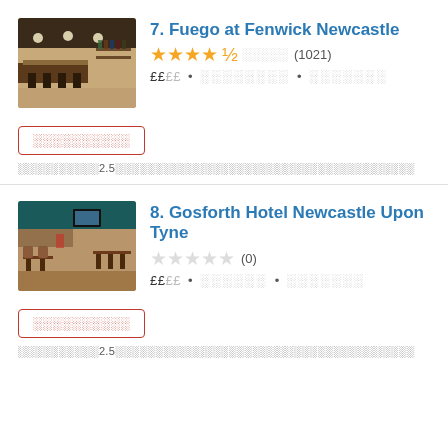7. Fuego at Fenwick Newcastle
★★★★½ ░░░░░ (1021) ££░░ • ░░░░░░░░ • ░░░░░░░
░░░░░░░░░░
░░░░░░░░░░2.5░░░░░░░░░░░░░░░░░░░░░░░░░░░░░░░░░░
8. Gosforth Hotel Newcastle Upon Tyne
☆☆☆☆☆ (0) ££░░ • ░░░░░░ • ░░░░░░░
░░░░░░░░░░
░░░░░░░░░░2.5░░░░░░░░░░░░░░░░░░░░░░░░░░░░░░░░░░